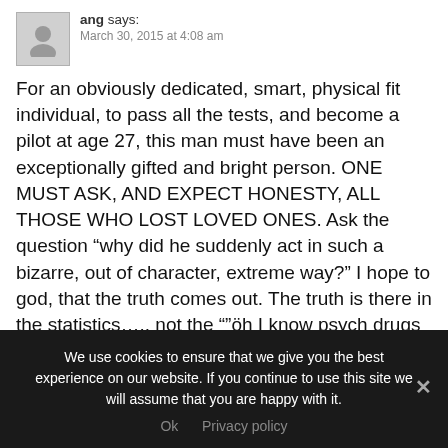ang says:
March 30, 2015 at 4:08 am
For an obviously dedicated, smart, physical fit individual, to pass all the tests, and become a pilot at age 27, this man must have been an exceptionally gifted and bright person. ONE MUST ASK, AND EXPECT HONESTY, ALL THOSE WHO LOST LOVED ONES. Ask the question “why did he suddenly act in such a bizarre, out of character, extreme way?” I hope to god, that the truth comes out. The truth is there in the statistics….. not the “”öh I know psych drugs help,
We use cookies to ensure that we give you the best experience on our website. If you continue to use this site we will assume that you are happy with it.
Ok   Privacy policy